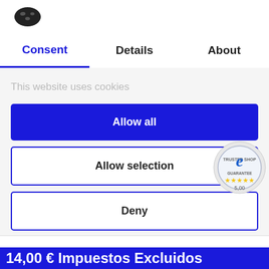[Figure (logo): Cookiebot logo - dark oval cookie icon]
Consent	Details	About
This website uses cookies
Allow all
Allow selection
Deny
[Figure (logo): Trusted Shop / e-commerce guarantee badge with star ratings showing 5,00]
Powered by Cookiebot by Usercentrics
14,00 € Impuestos Excluidos